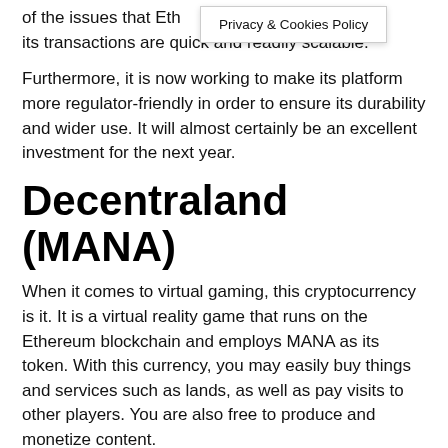of the issues that Eth[...] result, its transactions are quick and readily scalable.
Furthermore, it is now working to make its platform more regulator-friendly in order to ensure its durability and wider use. It will almost certainly be an excellent investment for the next year.
Decentraland (MANA)
When it comes to virtual gaming, this cryptocurrency is it. It is a virtual reality game that runs on the Ethereum blockchain and employs MANA as its token. With this currency, you may easily buy things and services such as lands, as well as pay visits to other players. You are also free to produce and monetize content.